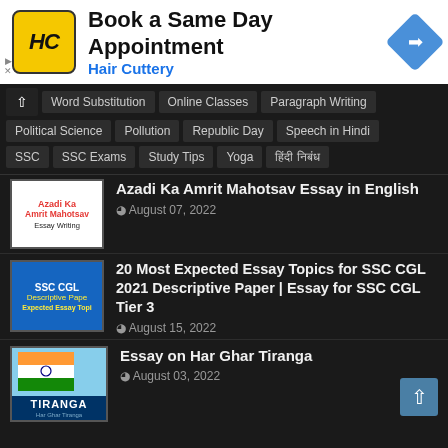[Figure (screenshot): Advertisement banner for Hair Cuttery: 'Book a Same Day Appointment' with HC logo and navigation arrow icon]
Word Substitution
Online Classes
Paragraph Writing
Political Science
Pollution
Republic Day
Speech in Hindi
SSC
SSC Exams
Study Tips
Yoga
हिंदी निबंध
[Figure (illustration): Thumbnail for Azadi Ka Amrit Mahotsav Essay Writing]
Azadi Ka Amrit Mahotsav Essay in English
August 07, 2022
[Figure (illustration): Thumbnail for SSC CGL Descriptive Paper Expected Essay Topics]
20 Most Expected Essay Topics for SSC CGL 2021 Descriptive Paper | Essay for SSC CGL Tier 3
August 15, 2022
[Figure (illustration): Thumbnail for Essay on Har Ghar Tiranga with Indian flag]
Essay on Har Ghar Tiranga
August 03, 2022